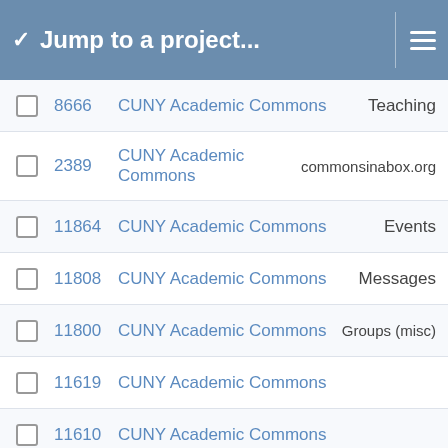Jump to a project...
8666  CUNY Academic Commons  Teaching
2389  CUNY Academic Commons  commonsinabox.org
11864  CUNY Academic Commons  Events
11808  CUNY Academic Commons  Messages
11800  CUNY Academic Commons  Groups (misc)
11619  CUNY Academic Commons
11610  CUNY Academic Commons